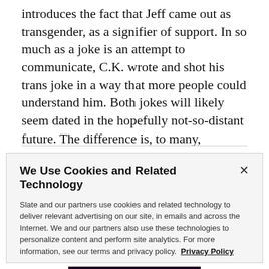introduces the fact that Jeff came out as transgender, as a signifier of support. In so much as a joke is an attempt to communicate, C.K. wrote and shot his trans joke in a way that more people could understand him. Both jokes will likely seem dated in the hopefully not-so-distant future. The difference is, to many, Chappelle's jokes, already seem like they're from the past.
We Use Cookies and Related Technology

Slate and our partners use cookies and related technology to deliver relevant advertising on our site, in emails and across the Internet. We and our partners also use these technologies to personalize content and perform site analytics. For more information, see our terms and privacy policy. Privacy Policy

OK